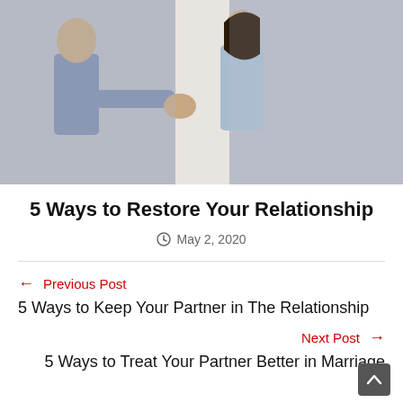[Figure (photo): A man and woman separated by a wall or pillar, holding hands across it, both looking distressed with heads bowed]
5 Ways to Restore Your Relationship
May 2, 2020
Previous Post
5 Ways to Keep Your Partner in The Relationship
Next Post
5 Ways to Treat Your Partner Better in Marriage